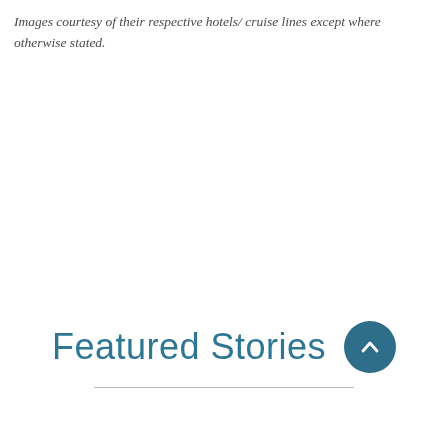Images courtesy of their respective hotels/ cruise lines except where otherwise stated.
Featured Stories